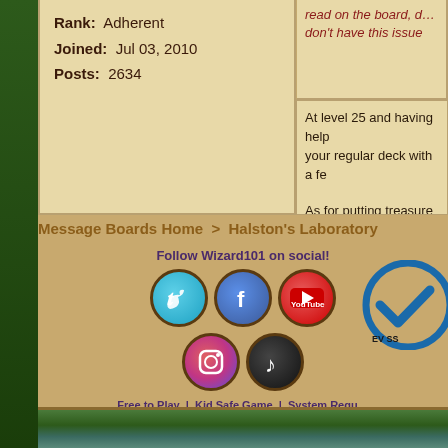Rank: Adherent
Joined: Jul 03, 2010
Posts: 2634
read on the board, don't have this issue
At level 25 and having help your regular deck with a fe
As for putting treasure car extra space in your deck fo deck open in your back pa load treasure cards in your come up in your hand and
Message Boards Home  >  Halston's Laboratory
Follow Wizard101 on social!
[Figure (logo): Twitter social media icon - circular blue bird logo]
[Figure (logo): Facebook social media icon - circular blue F logo]
[Figure (logo): YouTube social media icon - circular red YouTube logo]
[Figure (logo): Instagram social media icon - circular gradient camera logo]
[Figure (logo): TikTok social media icon - circular black TikTok logo]
[Figure (logo): EV SSL certificate badge with blue checkmark]
Free to Play | Kid Safe Game | System Requ
© 2022 KingsIsle Entertainment, Inc. Al